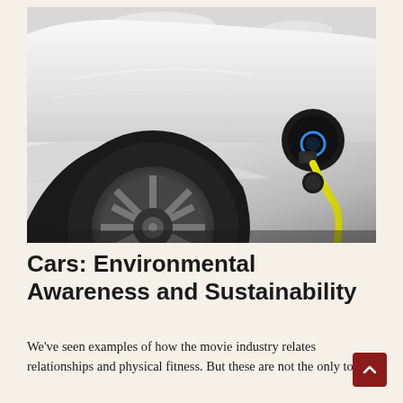[Figure (photo): Close-up photo of a white electric car being charged. A yellow charging cable is plugged into the charge port on the side of the car. The car wheel and tire are visible in the lower left. The charge port cap is black with a blue illuminated ring.]
Cars: Environmental Awareness and Sustainability
We've seen examples of how the movie industry relates relationships and physical fitness. But these are not the only to...